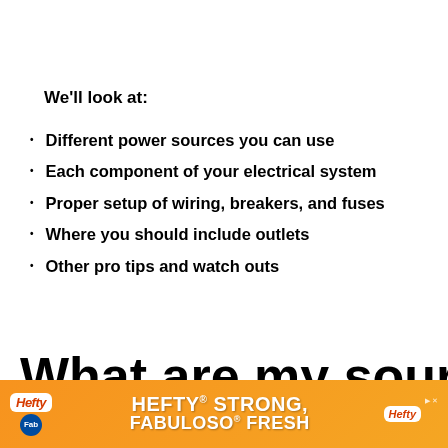We’ll look at:
Different power sources you can use
Each component of your electrical system
Proper setup of wiring, breakers, and fuses
Where you should include outlets
Other pro tips and watch outs
What are my sources of
[Figure (other): Hefty advertisement banner: orange background with Hefty and Fabuloso logos and text HEFTY STRONG, FABULOSO FRESH]